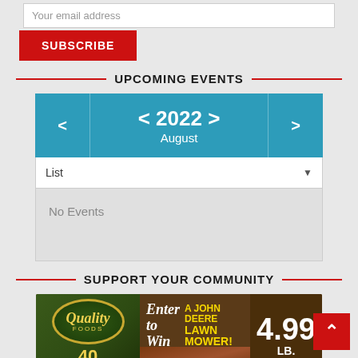Your email address
SUBSCRIBE
UPCOMING EVENTS
[Figure (other): Calendar widget showing August 2022 with left/right navigation arrows, a List dropdown selector, and a 'No Events' message area]
SUPPORT YOUR COMMUNITY
[Figure (other): Quality Foods advertisement showing logo, 40 years celebration, Enter to Win a John Deere Lawn Mower contest, with price 4.99 LB]